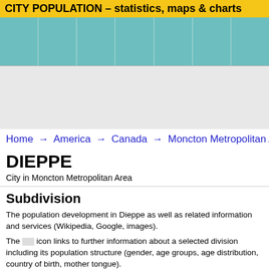CITY POPULATION – statistics, maps & charts
Home → America → Canada → Moncton Metropolitan Area
DIEPPE
City in Moncton Metropolitan Area
Subdivision
The population development in Dieppe as well as related information and services (Wikipedia, Google, images).
The [icon] icon links to further information about a selected division including its population structure (gender, age groups, age distribution, country of birth, mother tongue).
| Name | Status | Population Census 2001-05-15 | Population Census 2006-05-16 | Population Census 2011-05-10 | Population Census 2016-05-10 |
| --- | --- | --- | --- | --- | --- |
|  |  |  |  |  |  |